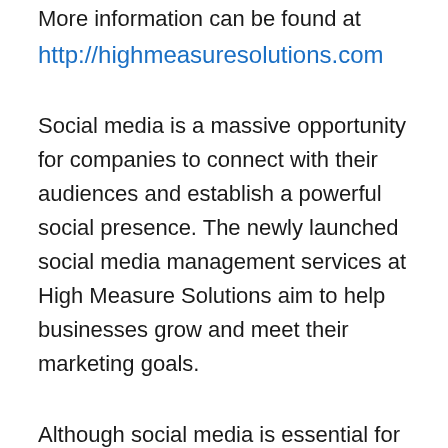More information can be found at
http://highmeasuresolutions.com
Social media is a massive opportunity for companies to connect with their audiences and establish a powerful social presence. The newly launched social media management services at High Measure Solutions aim to help businesses grow and meet their marketing goals.
Although social media is essential for businesses to remain competitive, many businesses are overwhelmed by the complex strategies needed to